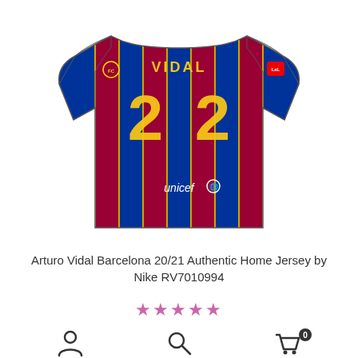[Figure (photo): Back view of Arturo Vidal Barcelona 20/21 authentic home jersey by Nike. The jersey shows blue and dark red vertical stripes, number 22 in yellow on the back, VIDAL name above the number, unicef logo on the lower back, LaLiga patch on the right shoulder, and FC Barcelona badge on the left shoulder.]
Arturo Vidal Barcelona 20/21 Authentic Home Jersey by Nike RV7010994
★★★★★
[Figure (infographic): Bottom navigation bar with three icons: person/account icon on left, search/magnifying glass icon in center, and shopping cart icon with badge showing 0 on the right.]